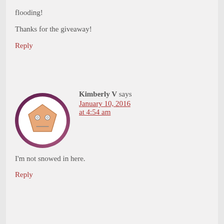flooding!
Thanks for the giveaway!
Reply
Kimberly V says
January 10, 2016 at 4:54 am
I'm not snowed in here.
Reply